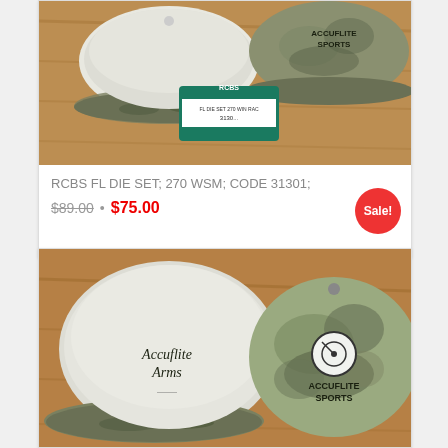[Figure (photo): Photo of RCBS FL Die Set product with two camouflage-brimmed caps (Accuflite Sports) on wooden surface]
RCBS FL DIE SET; 270 WSM; CODE 31301;
$89.00 • $75.00
[Figure (photo): Photo of two caps: one white with 'Accuflite Arms' text, one camouflage with 'Accuflite Sports' logo, on wooden surface]